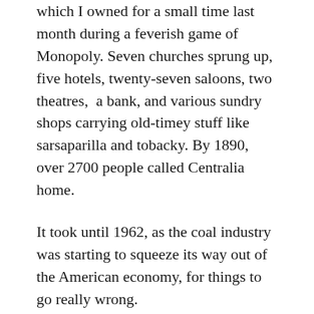which I owned for a small time last month during a feverish game of Monopoly. Seven churches sprung up, five hotels, twenty-seven saloons, two theatres, a bank, and various sundry shops carrying old-timey stuff like sarsaparilla and tobacky. By 1890, over 2700 people called Centralia home.
It took until 1962, as the coal industry was starting to squeeze its way out of the American economy, for things to go really wrong.
No one is 100% sure how the fire started. The where is a given – the landfill was located in an abandoned strip-mine pit. The law stated that a layer of clay had to be poured between each level of the landfill, but it's possible that the town got a little lazy in that department. So when a truck full of throw-away hot